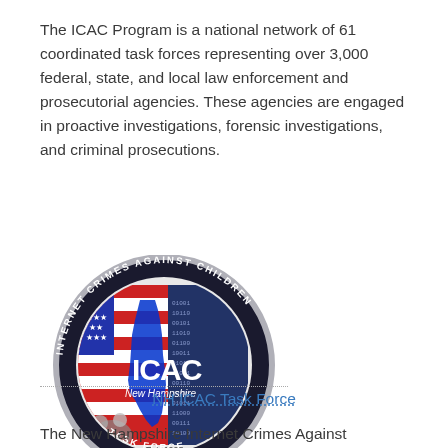The ICAC Program is a national network of 61 coordinated task forces representing over 3,000 federal, state, and local law enforcement and prosecutorial agencies. These agencies are engaged in proactive investigations, forensic investigations, and criminal prosecutions.
[Figure (logo): Circular seal/logo of the Internet Crimes Against Children Task Force for New Hampshire (ICAC). Dark navy border with text 'INTERNET CRIMES AGAINST CHILDREN TASK FORCE' around the edge. Center shows an American flag, a blue silhouette of New Hampshire state, binary code digits, and the letters 'ICAC' with 'New Hampshire' below. Bottom reads 'Est. 1998'.]
NH ICAC Task Force
The New Hampshire Internet Crimes Against Children (NH ICAC)